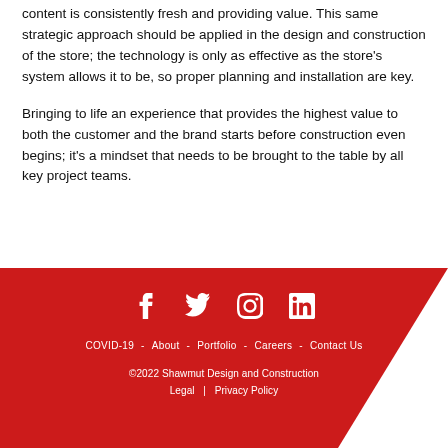content is consistently fresh and providing value. This same strategic approach should be applied in the design and construction of the store; the technology is only as effective as the store's system allows it to be, so proper planning and installation are key.
Bringing to life an experience that provides the highest value to both the customer and the brand starts before construction even begins; it's a mindset that needs to be brought to the table by all key project teams.
COVID-19 - About - Portfolio - Careers - Contact Us | ©2022 Shawmut Design and Construction | Legal | Privacy Policy